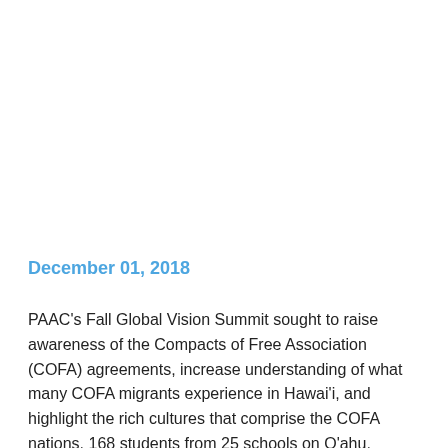December 01, 2018
PAAC's Fall Global Vision Summit sought to raise awareness of the Compacts of Free Association (COFA) agreements, increase understanding of what many COFA migrants experience in Hawai'i, and highlight the rich cultures that comprise the COFA nations. 168 students from 25 schools on O'ahu, Moloka'i, Kaua'i, and the Big Island attended.